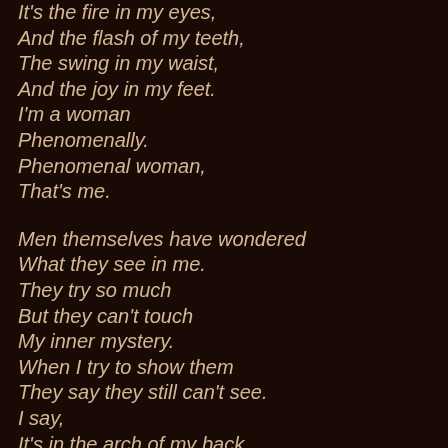It's the fire in my eyes,
And the flash of my teeth,
The swing in my waist,
And the joy in my feet.
I'm a woman
Phenomenally.
Phenomenal woman,
That's me.

Men themselves have wondered
What they see in me.
They try so much
But they can't touch
My inner mystery.
When I try to show them
They say they still can't see.
I say,
It's in the arch of my back,
The sun of my smile,
The ride of my breasts,
The grace of my style.
I'm a woman
Phenomenally.